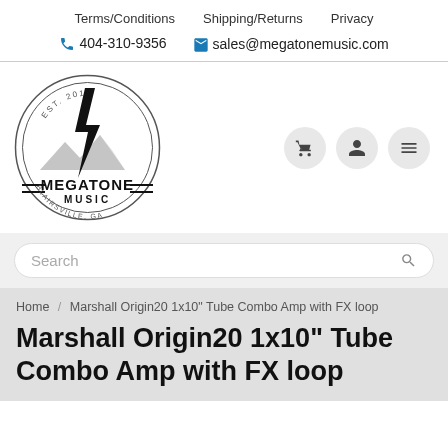Terms/Conditions  Shipping/Returns  Privacy
📞 404-310-9356  ✉ sales@megatonemusic.com
[Figure (logo): Megatone Music logo — circular badge with EST. 2010, guitar/lightning bolt, mountains silhouette, BLAIRSVILLE, GA text, and MEGATONE MUSIC text]
Search
Home / Marshall Origin20 1x10" Tube Combo Amp with FX loop
Marshall Origin20 1x10" Tube Combo Amp with FX loop